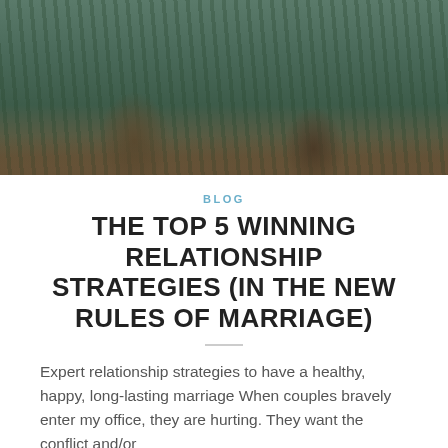[Figure (photo): Photograph of a couple standing outdoors in front of lush green ferns, showing their lower bodies in dark jeans with boots/shoes.]
BLOG
THE TOP 5 WINNING RELATIONSHIP STRATEGIES (IN THE NEW RULES OF MARRIAGE)
Expert relationship strategies to have a healthy, happy, long-lasting marriage When couples bravely enter my office, they are hurting. They want the conflict and/or